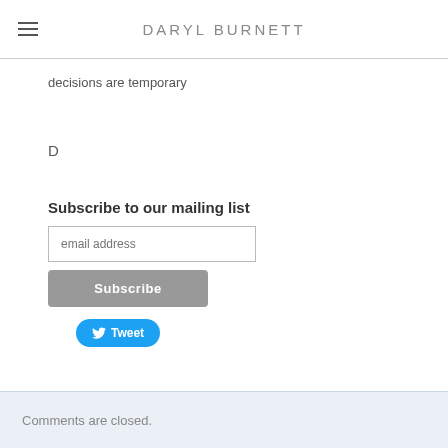DARYL BURNETT
decisions are temporary
D
Subscribe to our mailing list
email address
Subscribe
Tweet
Comments are closed.